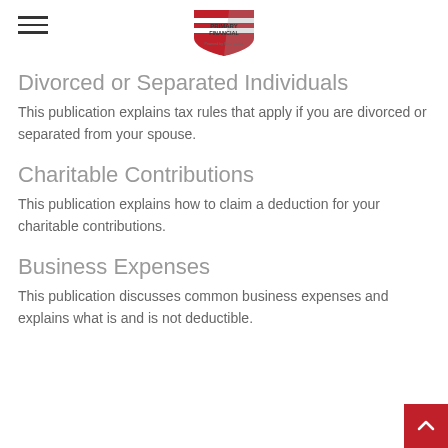Primary Financial (logo)
Divorced or Separated Individuals
This publication explains tax rules that apply if you are divorced or separated from your spouse.
Charitable Contributions
This publication explains how to claim a deduction for your charitable contributions.
Business Expenses
This publication discusses common business expenses and explains what is and is not deductible.